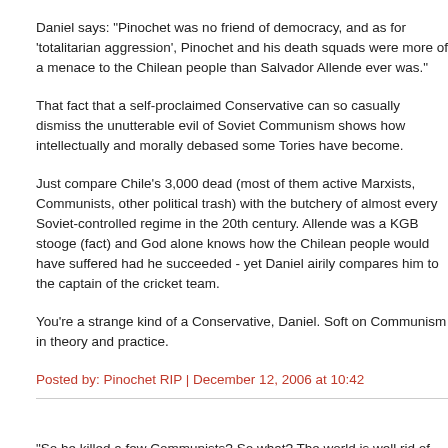Daniel says: "Pinochet was no friend of democracy, and as for 'totalitarian aggression', Pinochet and his death squads were more of a menace to the Chilean people than Salvador Allende ever was."
That fact that a self-proclaimed Conservative can so casually dismiss the unutterable evil of Soviet Communism shows how intellectually and morally debased some Tories have become.
Just compare Chile's 3,000 dead (most of them active Marxists, Communists, other political trash) with the butchery of almost every Soviet-controlled regime in the 20th century. Allende was a KGB stooge (fact) and God alone knows how the Chilean people would have suffered had he succeeded - yet Daniel airily compares him to the captain of the cricket team.
You're a strange kind of a Conservative, Daniel. Soft on Communism in theory and practice.
Posted by: Pinochet RIP | December 12, 2006 at 10:42
"So he killed a few Communists? So what? The world is well rid of such peo...
Not just my view. The view of most normal Tories as opposed to Bluelabouri...
I can only assume that you must be a troll. No Conservative I know would...